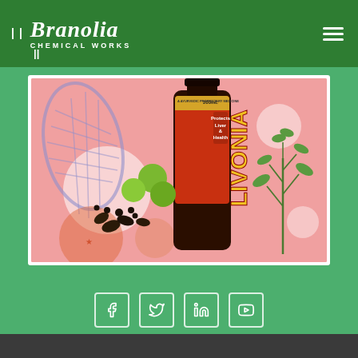[Figure (logo): Branolia Chemical Works logo — white italic script text on dark green header bar with double pipe marks decorations]
[Figure (photo): Livonia liver health syrup bottle (200mL, dark brown glass) with label reading 'LIVONIA — Protects Liver & Health', surrounded by herbs, green fruits, and spices on a colorful pink/peach background with purple decorative shapes]
[Figure (infographic): Social media icons row: Facebook, Twitter, LinkedIn, YouTube — white outlined rounded square icons on green background]